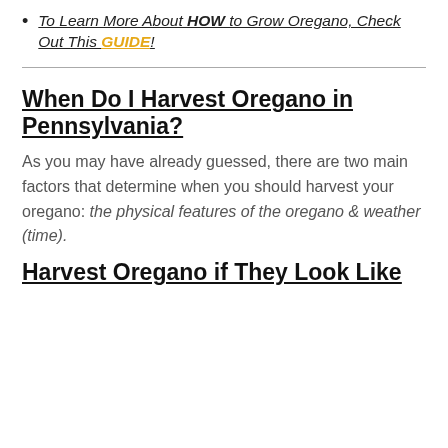To Learn More About HOW to Grow Oregano, Check Out This GUIDE!
When Do I Harvest Oregano in Pennsylvania?
As you may have already guessed, there are two main factors that determine when you should harvest your oregano: the physical features of the oregano & weather (time).
Harvest Oregano if They Look Like